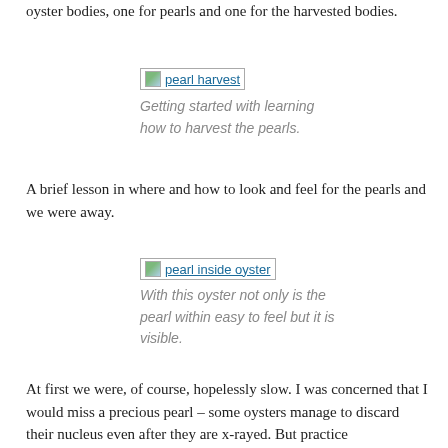oyster bodies, one for pearls and one for the harvested bodies.
[Figure (photo): Image placeholder labeled 'pearl harvest']
Getting started with learning how to harvest the pearls.
A brief lesson in where and how to look and feel for the pearls and we were away.
[Figure (photo): Image placeholder labeled 'pearl inside oyster']
With this oyster not only is the pearl within easy to feel but it is visible.
At first we were, of course, hopelessly slow. I was concerned that I would miss a precious pearl – some oysters manage to discard their nucleus even after they are x-rayed. But practice